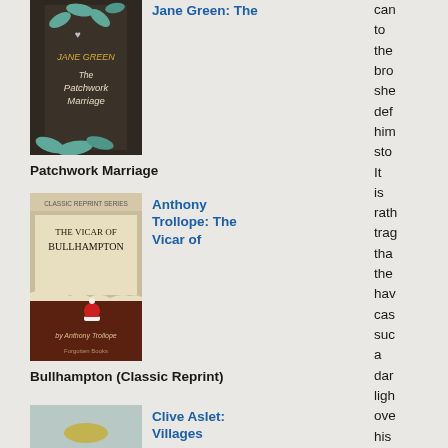[Figure (photo): Book cover of The Patchwork Marriage by Jane Green, dark background with teal leaf/petal decorations and a heart pendant]
Jane Green: The
Patchwork Marriage
[Figure (photo): Book cover of The Vicar of Bullhampton by Anthony Trollope, Classic Reprint Series, beige and dark brown tones]
Anthony Trollope: The Vicar of
Bullhampton (Classic Reprint)
[Figure (photo): Book cover of Villages of England by Clive Aslet, light blue/teal background with golden decorative element]
Clive Aslet: Villages
can
to
the
bro
she
def
him
sto
It
is
rath
trag
tha
the
hav
cas
suc
a
dar
ligh
ove
his
rep